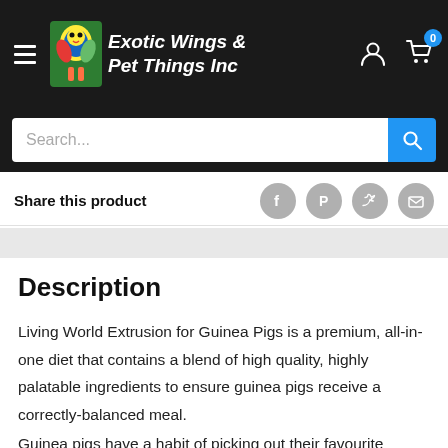Exotic Wings & Pet Things Inc
Search...
Share this product
Description
Living World Extrusion for Guinea Pigs is a premium, all-in-one diet that contains a blend of high quality, highly palatable ingredients to ensure guinea pigs receive a correctly-balanced meal.
Guinea pigs have a habit of picking out their favourite